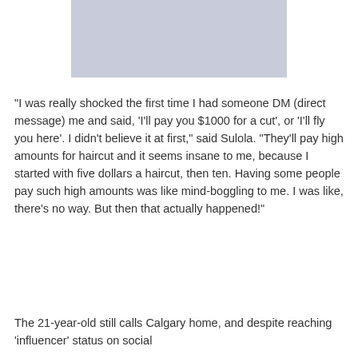[Figure (photo): A light gray rectangular placeholder image at the top of the page]
“I was really shocked the first time I had someone DM (direct message) me and said, ‘I’ll pay you $1000 for a cut’, or ‘I’ll fly you here’. I didn't believe it at first," said Sulola. "They'll pay high amounts for haircut and it seems insane to me, because I started with five dollars a haircut, then ten. Having some people pay such high amounts was like mind-boggling to me. I was like, there's no way. But then that actually happened!"
The 21-year-old still calls Calgary home, and despite reaching ‘influencer’ status on social